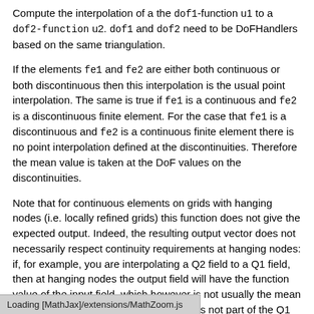Compute the interpolation of a the dof1-function u1 to a dof2-function u2. dof1 and dof2 need to be DoFHandlers based on the same triangulation.
If the elements fe1 and fe2 are either both continuous or both discontinuous then this interpolation is the usual point interpolation. The same is true if fe1 is a continuous and fe2 is a discontinuous finite element. For the case that fe1 is a discontinuous and fe2 is a continuous finite element there is no point interpolation defined at the discontinuities. Therefore the mean value is taken at the DoF values on the discontinuities.
Note that for continuous elements on grids with hanging nodes (i.e. locally refined grids) this function does not give the expected output. Indeed, the resulting output vector does not necessarily respect continuity requirements at hanging nodes: if, for example, you are interpolating a Q2 field to a Q1 field, then at hanging nodes the output field will have the function value of the input field, which however is not usually the mean value of the two adjacent nodes. It is thus not part of the Q1 function space on the whole [domain], but only piecewise Q1 on each cell.
Loading [MathJax]/extensions/MathZoom.js